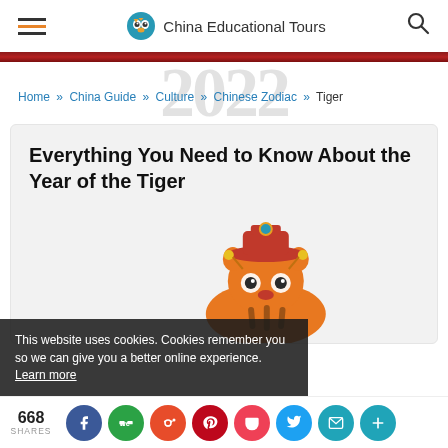China Educational Tours — navigation header with hamburger menu and search icon
Home » China Guide » Culture » Chinese Zodiac » Tiger
Everything You Need to Know About the Year of the Tiger
[Figure (illustration): Cartoon tiger wearing a red traditional Chinese hat, orange with dark stripes, illustrated in a cute style]
This website uses cookies. Cookies remember you so we can give you a better online experience. Learn more
668 SHARES — social share buttons: Facebook, WeIt, Reddit, Pinterest, Pocket, Twitter, Email, Plus